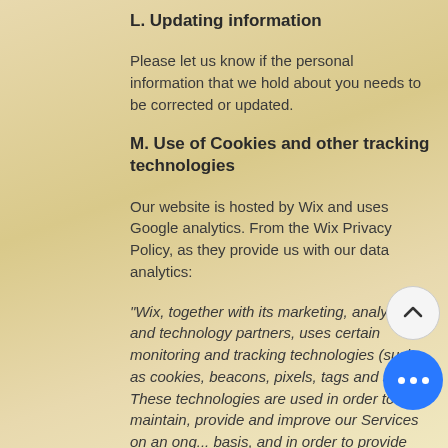L. Updating information
Please let us know if the personal information that we hold about you needs to be corrected or updated.
M. Use of Cookies and other tracking technologies
Our website is hosted by Wix and uses Google analytics. From the Wix Privacy Policy, as they provide us with our data analytics:
"Wix, together with its marketing, analytics and technology partners, uses certain monitoring and tracking technologies (such as cookies, beacons, pixels, tags and scrip... These technologies are used in order to maintain, provide and improve our Services on an ong... basis, and in order to provide our Visitors, our Users and Their User...